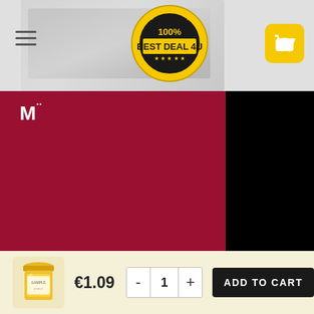[Figure (screenshot): E-commerce product page screenshot showing a dark red product image with letter M, a logo badge in the header reading '100% BEST DEAL 4U' with satisfaction guaranteed, a hamburger menu icon, a yellow cart button, and a bottom sticky bar with a product jar thumbnail, price €1.09, quantity selector, and ADD TO CART button.]
€1.09
ADD TO CART